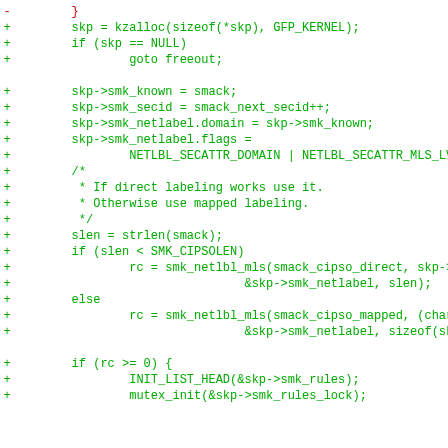Diff/patch code block showing additions and one deletion in C source code related to smack security labeling in Linux kernel
[Figure (screenshot): Source code diff showing lines with + (addition) and - (deletion) markers. Lines in green show additions of C code: kzalloc, smk_known, smk_secid, smk_netlabel assignments, comment block, strlen, if/else with smk_netlbl_mls calls, and INIT_LIST_HEAD/mutex_init. One red line shows deletion of closing brace.]